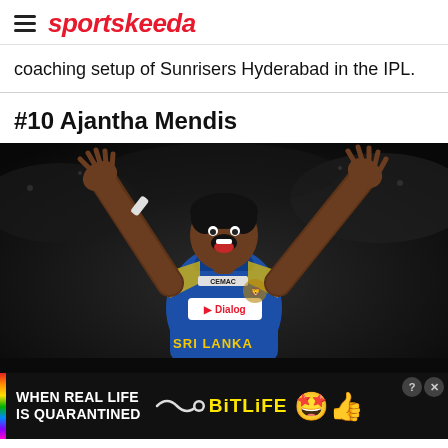sportskeeda
coaching setup of Sunrisers Hyderabad in the IPL.
#10 Ajantha Mendis
[Figure (photo): Ajantha Mendis, Sri Lanka cricketer, celebrating with arms raised wide, wearing blue Sri Lanka kit with Dialog sponsor and SRI LANKA text on jersey, with CEMAC on collar, dark crowd background]
[Figure (infographic): BitLife advertisement banner: 'WHEN REAL LIFE IS QUARANTINED' with rainbow stripe on left, wavy arrow, BitLife logo in yellow, star-eyes emoji and thumbs-up emoji, close button top right]